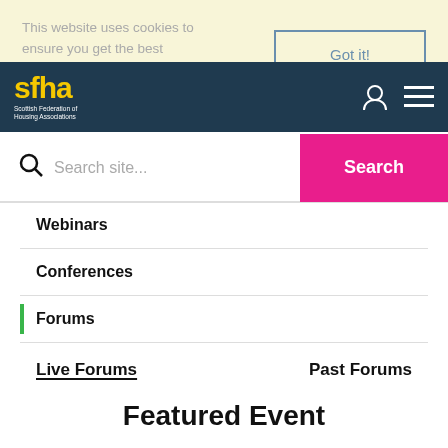This website uses cookies to ensure you get the best experience on our website.
Got it!
[Figure (logo): SFHA - Scottish Federation of Housing Associations logo with yellow text on dark navy background]
Search site...
Search
Webinars
Conferences
Forums
Live Forums
Past Forums
Featured Event